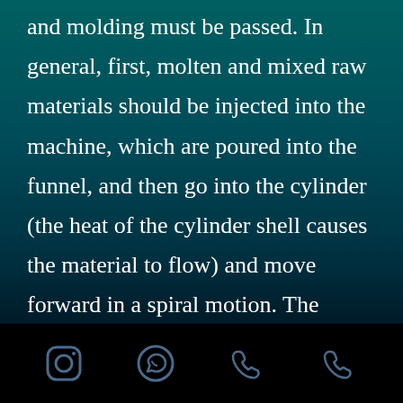and molding must be passed. In general, first, molten and mixed raw materials should be injected into the machine, which are poured into the funnel, and then go into the cylinder (the heat of the cylinder shell causes the material to flow) and move forward in a spiral motion. The spiral, with its rotational movement, overcomes the act of narcotics and moves forward with the satanic movement. At the same time, the material
[Figure (other): Footer bar with social media and phone icons: Instagram, WhatsApp, phone, phone]